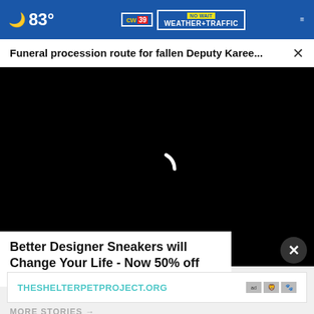83° CW39 NO WAIT WEATHER+TRAFFIC
Funeral procession route for fallen Deputy Karee... ×
[Figure (screenshot): Black video player area with loading spinner arc in white]
Better Designer Sneakers will Change Your Life - Now 50% off
Ad by Sursell
THESHELTERPETPROJECT.ORG
MORE STORIES →